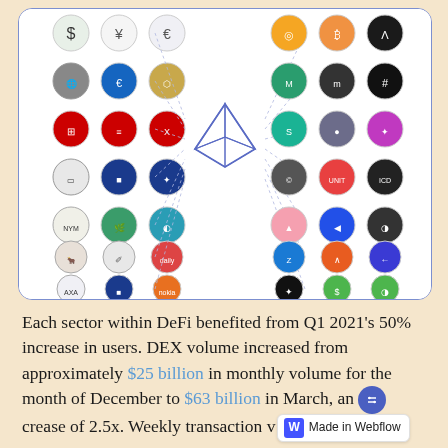[Figure (infographic): Network diagram showing Ethereum (ETH diamond logo) in the center connected by dotted lines to various cryptocurrency and financial institution logos on the left (fiat/bank icons: $, ¥, €, bank logos) and DeFi/crypto protocol logos on the right. Left side shows traditional finance and fiat currency icons arranged in rows. Right side shows DeFi protocol icons arranged in rows.]
Each sector within DeFi benefited from Q1 2021's 50% increase in users. DEX volume increased from approximately $25 billion in monthly volume for the month of December to $63 billion in March, an increase of 2.5x. Weekly transaction v... ...crease of 2.5x. Weekly transaction w...